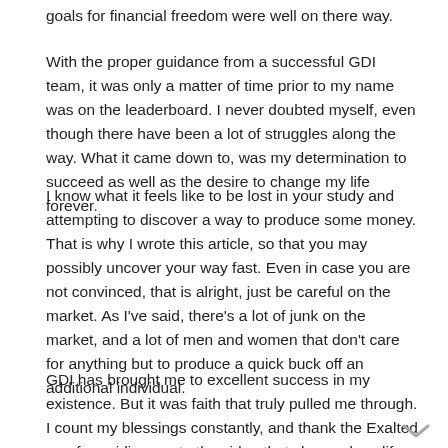goals for financial freedom were well on there way.
With the proper guidance from a successful GDI team, it was only a matter of time prior to my name was on the leaderboard. I never doubted myself, even though there have been a lot of struggles along the way. What it came down to, was my determination to succeed as well as the desire to change my life forever.
I know what it feels like to be lost in your study and attempting to discover a way to produce some money. That is why I wrote this article, so that you may possibly uncover your way fast. Even in case you are not convinced, that is alright, just be careful on the market. As I've said, there's a lot of junk on the market, and a lot of men and women that don't care for anything but to produce a quick buck off an additional individual.
GDI has brought me to excellent success in my existence. But it was faith that truly pulled me through. I count my blessings constantly, and thank the Exalted one for guiding me to the video that changed my life forever. Thank you for reading.